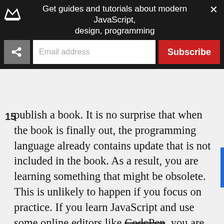Get guides and tutorials about modern JavaScript, design, programming
publish a book. It is no surprise that when the book is finally out, the programming language already contains update that is not included in the book. As a result, you are learning something that might be obsolete. This is unlikely to happen if you focus on practice. If you learn JavaScript and use some online editors like CodePen, you are always using the latest version of the language. JavaScript is great example.
For a long time, there were almost no books about ECMAScript 6. Yet, you could already write code in this syntax if you used compilers